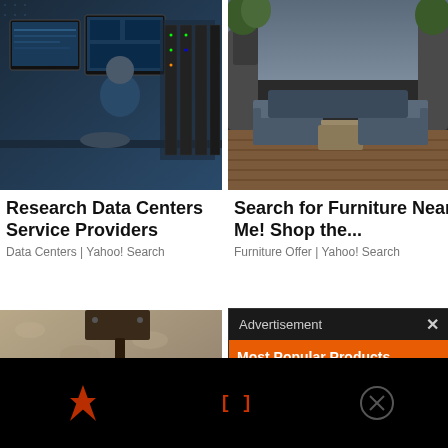[Figure (photo): Person working at multiple computer monitors in a dark data center environment]
[Figure (photo): Outdoor patio furniture on a wooden deck with greenery and planters]
Research Data Centers Service Providers
Data Centers | Yahoo! Search
Search for Furniture Near Me! Shop the...
Furniture Offer | Yahoo! Search
[Figure (photo): Outdoor wall-mounted lantern light fixture on a textured stucco wall]
[Figure (screenshot): Advertisement overlay with orange background showing Most Popular Products Updated Weekly! with white product icons]
Advertisement
Most Popular Products Updated Weekly!